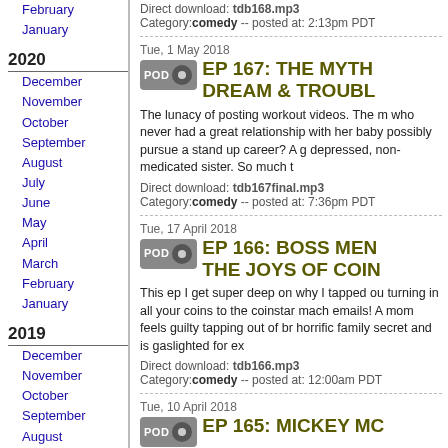February
January
2020
December
November
October
September
August
July
June
May
April
March
February
January
2019
December
November
October
September
August
July
2018
May
April
March
February
January
Direct download: tdb168.mp3
Category:comedy -- posted at: 2:13pm PDT
Tue, 1 May 2018
EP 167: THE MYTH DREAM & TROUBL
The lunacy of posting workout videos. The m who never had a great relationship with her baby possibly pursue a stand up career? A g depressed, non-medicated sister. So much t
Direct download: tdb167final.mp3
Category:comedy -- posted at: 7:36pm PDT
Tue, 17 April 2018
EP 166: BOSS MEN THE JOYS OF COIN
This ep I get super deep on why I tapped ou turning in all your coins to the coinstar mach emails!  A mom feels guilty tapping out of br horrific family secret and is gaslighted for ex
Direct download: tdb166.mp3
Category:comedy -- posted at: 12:00am PDT
Tue, 10 April 2018
EP 165: MICKEY MC
This episode has so much deepness. I talk a Also, Walt Disney (Anti-Semite and Misogynis